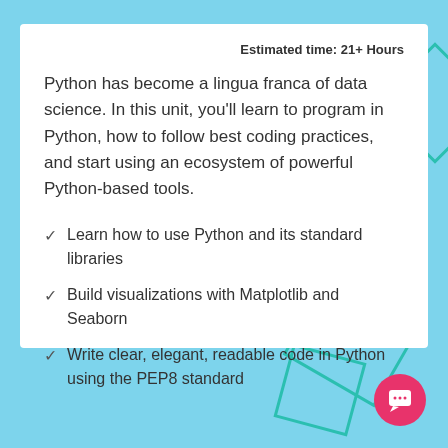Estimated time: 21+ Hours
Python has become a lingua franca of data science. In this unit, you'll learn to program in Python, how to follow best coding practices, and start using an ecosystem of powerful Python-based tools.
Learn how to use Python and its standard libraries
Build visualizations with Matplotlib and Seaborn
Write clear, elegant, readable code in Python using the PEP8 standard